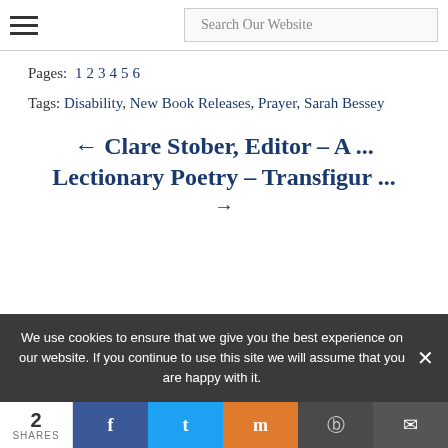Search Our Website
Pages: 1 2 3 4 5 6
Tags: Disability, New Book Releases, Prayer, Sarah Bessey
← Clare Stober, Editor – A ...
Lectionary Poetry – Transfigur ...
→
We use cookies to ensure that we give you the best experience on our website. If you continue to use this site we will assume that you are happy with it.
2 SHARES